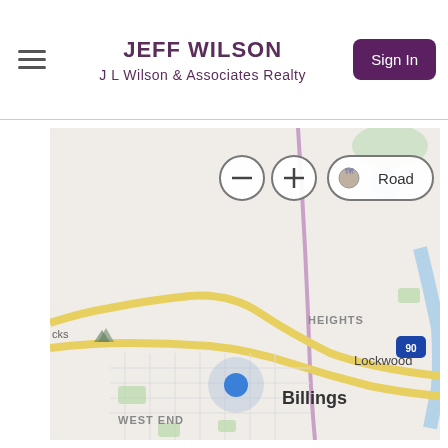JEFF WILSON
J L Wilson & Associates Realty
[Figure (map): Road map centered on Billings, Montana with a blue location marker. Shows surrounding areas including Heights, Lockwood, West End, and Interstate 90. Map controls visible: zoom out, zoom in, and Road view toggle.]